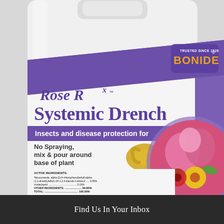[Figure (photo): Product photo of Bonide Rose Rx Systemic Drench 32 fl oz bottle. White plastic jug with purple and white label. Label shows product name 'Rose Rx Systemic Drench', tagline 'Insects and disease protection for 6 weeks!', instructions 'No Spraying, mix & pour around base of plant', active ingredients panel, CAUTION/CUIDADO warning, net contents 32 FL. OZ. (946 ML.). Features illustration of yellow watering can and photo of pink roses and colorful flowers. Bonide logo in upper right corner with 'TRUSTED SINCE 1926'.]
Find Us In Your Inbox